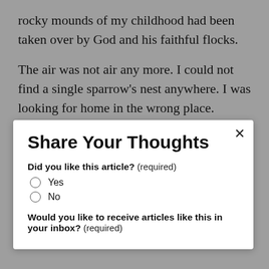rocky mounds of my childhood had been taken over by God and his faithful flocks.
The air was not air any more. I could not find a single sparrow's nest anywhere. I was looking for home in the wrong place.
Share Your Thoughts
Did you like this article? (required)
Yes
No
Would you like to receive articles like this in your inbox? (required)